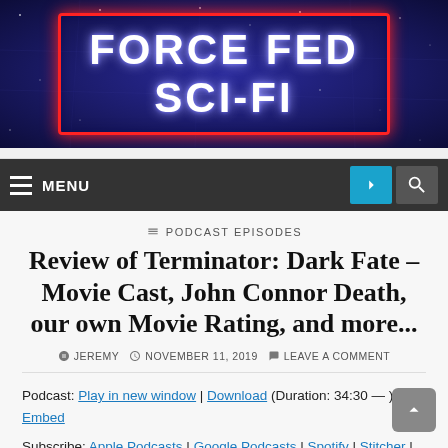[Figure (logo): Force Fed Sci-Fi website banner logo with red border on dark blue starfield background, text reads FORCE FED SCI-FI]
MENU
PODCAST EPISODES
Review of Terminator: Dark Fate – Movie Cast, John Connor Death, our own Movie Rating, and more...
JEREMY   NOVEMBER 11, 2019   LEAVE A COMMENT
Podcast: Play in new window | Download (Duration: 34:30 — ) | Embed
Subscribe: Apple Podcasts | Google Podcasts | Spotify | Stitcher |